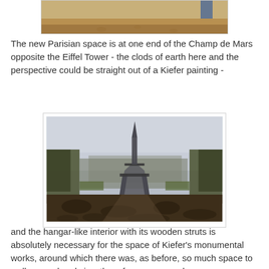[Figure (photo): Partial view of sandy/earthy ground, top portion of a photo cropped at the top of the page]
The new Parisian space is at one end of the Champ de Mars opposite the Eiffel Tower - the clods of earth here and the perspective could be straight out of a Kiefer painting -
[Figure (photo): Photo of the Eiffel Tower viewed from ground level at Champ de Mars, with dark clumpy earth in the foreground, trees on either side, and overcast sky]
and the hangar-like interior with its wooden struts is absolutely necessary for the space of Kiefer's monumental works, around which there was, as before, so much space to walk around and view them from every angle.